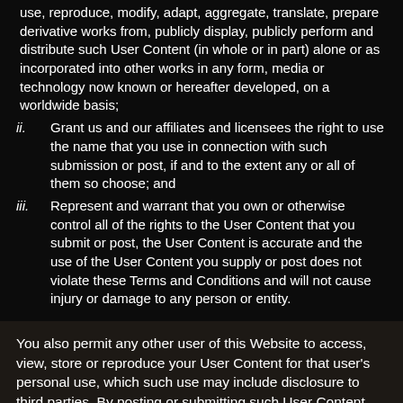use, reproduce, modify, adapt, aggregate, translate, prepare derivative works from, publicly display, publicly perform and distribute such User Content (in whole or in part) alone or as incorporated into other works in any form, media or technology now known or hereafter developed, on a worldwide basis;
ii. Grant us and our affiliates and licensees the right to use the name that you use in connection with such submission or post, if and to the extent any or all of them so choose; and
iii. Represent and warrant that you own or otherwise control all of the rights to the User Content that you submit or post, the User Content is accurate and the use of the User Content you supply or post does not violate these Terms and Conditions and will not cause injury or damage to any person or entity.
You also permit any other user of this Website to access, view, store or reproduce your User Content for that user's personal use, which such use may include disclosure to third parties. By posting or submitting such User Content, you hereby waive any claim that we